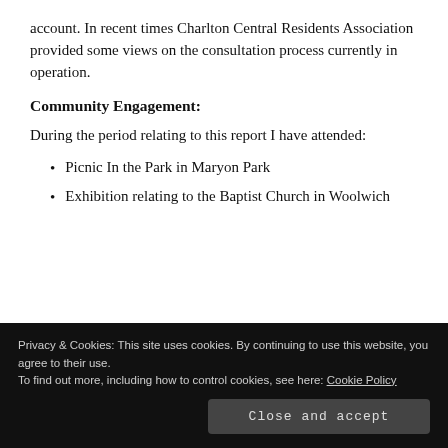account. In recent times Charlton Central Residents Association provided some views on the consultation process currently in operation.
Community Engagement:
During the period relating to this report I have attended:
Picnic In the Park in Maryon Park
Exhibition relating to the Baptist Church in Woolwich
Privacy & Cookies: This site uses cookies. By continuing to use this website, you agree to their use.
To find out more, including how to control cookies, see here: Cookie Policy
Birmingham